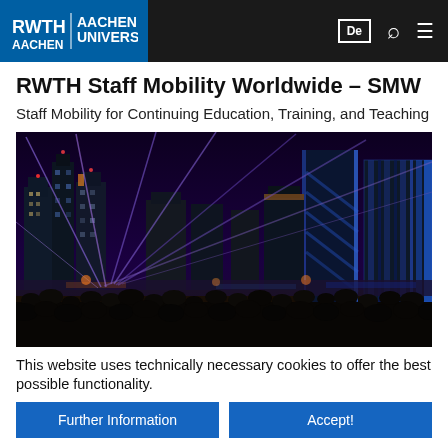RWTH Aachen University — De / Search / Menu
RWTH Staff Mobility Worldwide – SMW
Staff Mobility for Continuing Education, Training, and Teaching
[Figure (photo): Night cityscape with illuminated skyscrapers and laser light show; crowd of people silhouetted in foreground]
This website uses technically necessary cookies to offer the best possible functionality.
Further Information | Accept!